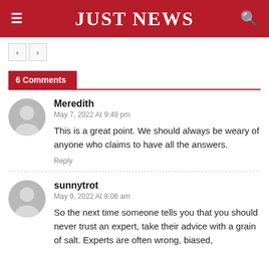JUST NEWS
6 Comments
Meredith
May 7, 2022 At 9:49 pm
This is a great point. We should always be weary of anyone who claims to have all the answers.
Reply
sunnytrot
May 9, 2022 At 8:06 am
So the next time someone tells you that you should never trust an expert, take their advice with a grain of salt. Experts are often wrong, biased,